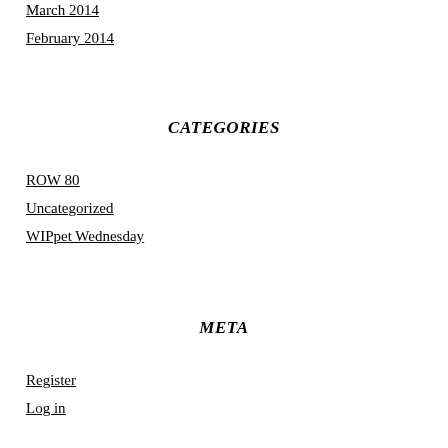March 2014
February 2014
CATEGORIES
ROW 80
Uncategorized
WIPpet Wednesday
META
Register
Log in